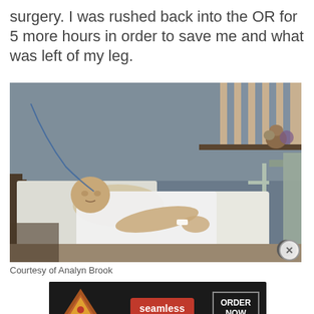surgery. I was rushed back into the OR for 5 more hours in order to save me and what was left of my leg.
[Figure (photo): Person lying in a hospital bed, wearing a hospital gown, with medical equipment visible. A shelf with stuffed animals is in the background.]
Courtesy of Analyn Brook
[Figure (other): Seamless food delivery advertisement banner with pizza image, Seamless logo, and ORDER NOW button]